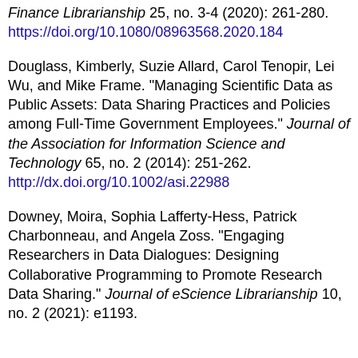Finance Librarianship 25, no. 3-4 (2020): 261-280. https://doi.org/10.1080/08963568.2020.184...
Douglass, Kimberly, Suzie Allard, Carol Tenopir, Lei Wu, and Mike Frame. "Managing Scientific Data as Public Assets: Data Sharing Practices and Policies among Full-Time Government Employees." Journal of the Association for Information Science and Technology 65, no. 2 (2014): 251-262. http://dx.doi.org/10.1002/asi.22988
Downey, Moira, Sophia Lafferty-Hess, Patrick Charbonneau, and Angela Zoss. "Engaging Researchers in Data Dialogues: Designing Collaborative Programming to Promote Research Data Sharing." Journal of eScience Librarianship 10, no. 2 (2021): e1193.